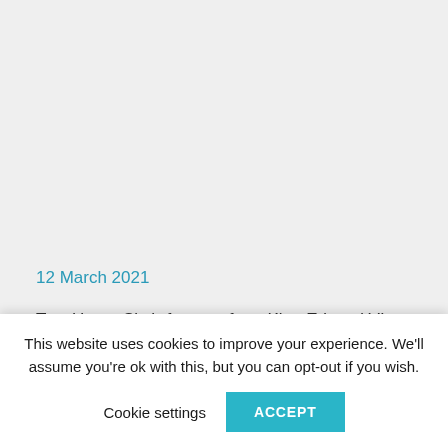12 March 2021
Two Upper Sixth-formers from King Edward VI
This website uses cookies to improve your experience. We'll assume you're ok with this, but you can opt-out if you wish.
Cookie settings
ACCEPT